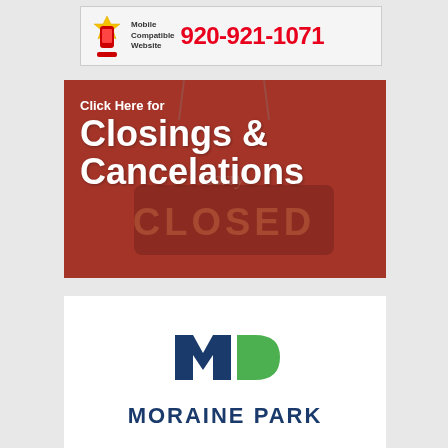[Figure (logo): Mobile Compatible Website logo with phone icon and phone number 920-921-1071 in red]
[Figure (illustration): Red banner with text 'Click Here for Closings & Cancelations' overlaid on a closed sign background]
[Figure (logo): Moraine Park Technical College logo with blue and green M logo mark and MORAINE PARK text]